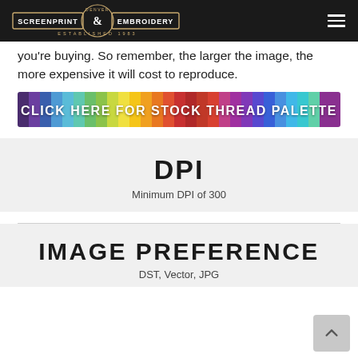Denver Screenprint & Embroidery — Established 1983
you're buying. So remember, the larger the image, the more expensive it will cost to reproduce.
[Figure (infographic): Rainbow-colored banner reading CLICK HERE FOR STOCK THREAD PALETTE in white bold text]
DPI
Minimum DPI of 300
IMAGE PREFERENCE
DST, Vector, JPG